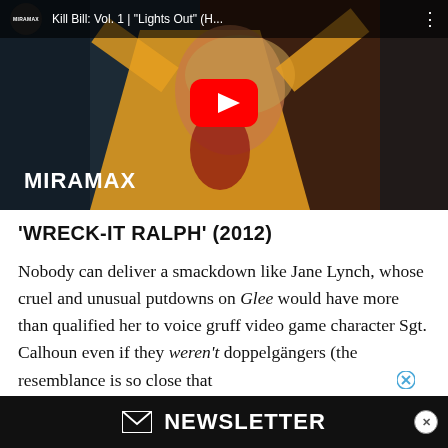[Figure (screenshot): YouTube video thumbnail showing Kill Bill: Vol. 1 Lights Out clip from Miramax channel, with red YouTube play button overlay and Miramax logo at bottom left]
'WRECK-IT RALPH' (2012)
Nobody can deliver a smackdown like Jane Lynch, whose cruel and unusual putdowns on Glee would have more than qualified her to voice gruff video game character Sgt. Calhoun even if they weren't doppelgängers (the resemblance is so close that Lyn...
[Figure (other): MEL Newsletter signup bar at bottom of page with envelope icon and X close button]